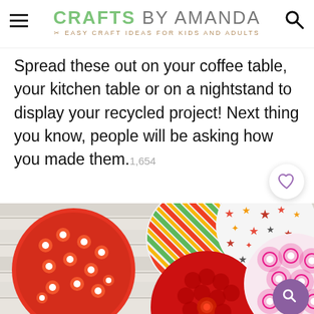CRAFTS BY AMANDA — EASY CRAFT IDEAS FOR KIDS AND ADULTS
Spread these out on your coffee table, your kitchen table or on a nightstand to display your recycled project! Next thing you know, people will be asking how you made them. 1,654
[Figure (photo): Photo of multiple decorative round coasters made from recycled CDs covered with colorful patterned paper — floral, striped, and star patterns in red, green, pink, orange, and white, displayed on a white wooden surface.]